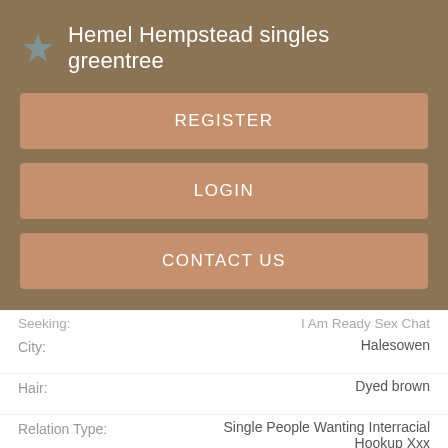Hemel Hempstead singles greentree
REGISTER
LOGIN
CONTACT US
| Field | Value |
| --- | --- |
| Seeking: | I Am Ready Sex Chat |
| City: | Halesowen |
| Hair: | Dyed brown |
| Relation Type: | Single People Wanting Interracial Hookup Xxx |
Views: 3756